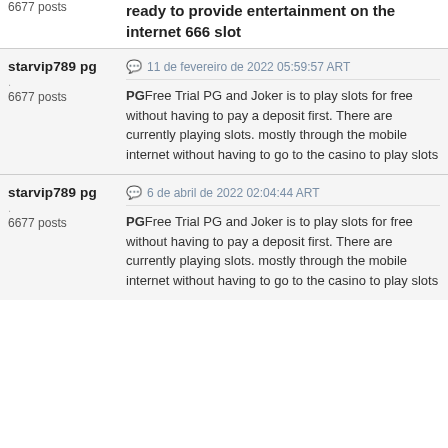6677 posts
ready to provide entertainment on the internet 666 slot
starvip789 pg
6677 posts
11 de fevereiro de 2022 05:59:57 ART
PG Free Trial PG and Joker is to play slots for free without having to pay a deposit first. There are currently playing slots. mostly through the mobile internet without having to go to the casino to play slots
starvip789 pg
6677 posts
6 de abril de 2022 02:04:44 ART
PG Free Trial PG and Joker is to play slots for free without having to pay a deposit first. There are currently playing slots. mostly through the mobile internet without having to go to the casino to play slots